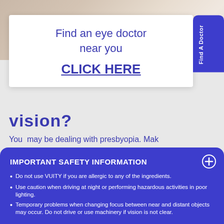[Figure (photo): Background photo showing a person, partially visible behind white popup card and blue section]
Find an eye doctor near you CLICK HERE
Find A Doctor
vision?
You may be dealing with presbyopia. Mak
IMPORTANT SAFETY INFORMATION
Do not use VUITY if you are allergic to any of the ingredients.
Use caution when driving at night or performing hazardous activities in poor lighting.
Temporary problems when changing focus between near and distant objects may occur. Do not drive or use machinery if vision is not clear.